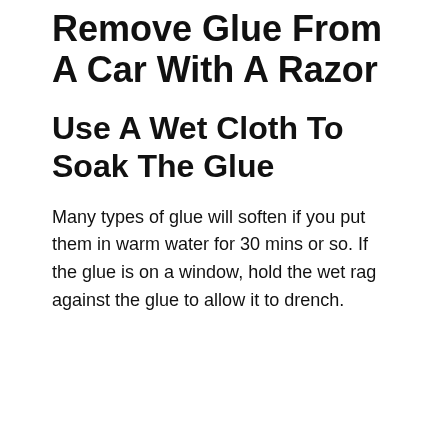Remove Glue From A Car With A Razor
Use A Wet Cloth To Soak The Glue
Many types of glue will soften if you put them in warm water for 30 mins or so. If the glue is on a window, hold the wet rag against the glue to allow it to drench.